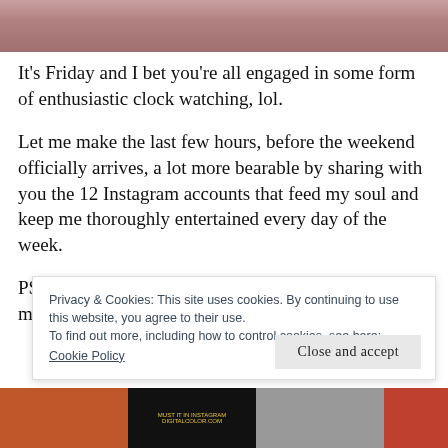[Figure (photo): Hero image at top of page, partially visible photograph with reddish-brown tones]
It’s Friday and I bet you’re all engaged in some form of enthusiastic clock watching, lol.
Let me make the last few hours, before the weekend officially arrives, a lot more bearable by sharing with you the 12 Instagram accounts that feed my soul and keep me thoroughly entertained every day of the week.
PS If you’re on Instagram, don’t be a stranger and pay me a visit over at VimfromZim
Privacy & Cookies: This site uses cookies. By continuing to use this website, you agree to their use.
To find out more, including how to control cookies, see here: Cookie Policy
Close and accept
[Figure (photo): Row of small thumbnail images at the bottom of the page]